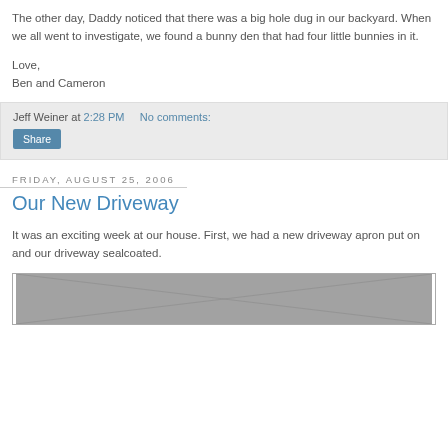The other day, Daddy noticed that there was a big hole dug in our backyard. When we all went to investigate, we found a bunny den that had four little bunnies in it.
Love,
Ben and Cameron
Jeff Weiner at 2:28 PM   No comments:
Share
Friday, August 25, 2006
Our New Driveway
It was an exciting week at our house. First, we had a new driveway apron put on and our driveway sealcoated.
[Figure (photo): Black and white photograph showing a driveway area with stone or brick edging]